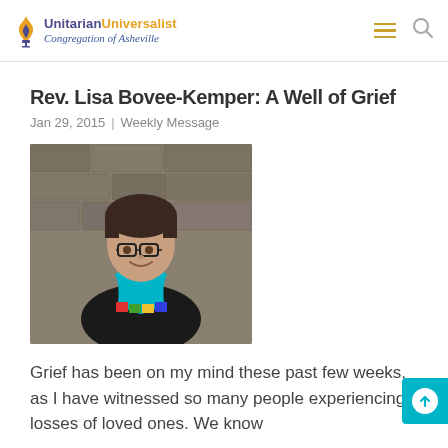Unitarian Universalist Congregation of Asheville
Rev. Lisa Bovee-Kemper: A Well of Grief
Jan 29, 2015 | Weekly Message
[Figure (photo): Portrait photo of Rev. Lisa Bovee-Kemper wearing glasses and a colorful teal stole with multicolored geometric designs, smiling, standing in front of a stone wall background.]
Grief has been on my mind these past few weeks, as I have witnessed so many people experiencing losses of loved ones. We know